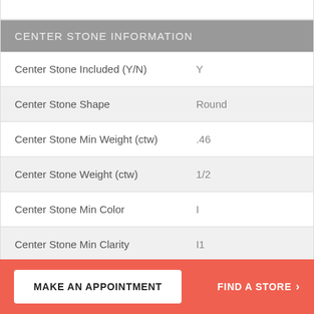| Field | Value |
| --- | --- |
| Center Stone Included (Y/N) | Y |
| Center Stone Shape | Round |
| Center Stone Min Weight (ctw) | .46 |
| Center Stone Weight (ctw) | 1/2 |
| Center Stone Min Color | I |
| Center Stone Min Clarity | I1 |
MAKE AN APPOINTMENT
FIND A STORE >